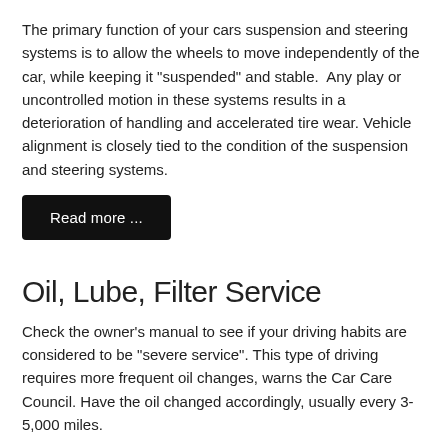The primary function of your cars suspension and steering systems is to allow the wheels to move independently of the car, while keeping it "suspended" and stable.  Any play or uncontrolled motion in these systems results in a deterioration of handling and accelerated tire wear. Vehicle alignment is closely tied to the condition of the suspension and steering systems.
Read more ...
Oil, Lube, Filter Service
Check the owner's manual to see if your driving habits are considered to be "severe service". This type of driving requires more frequent oil changes, warns the Car Care Council. Have the oil changed accordingly, usually every 3-5,000 miles.